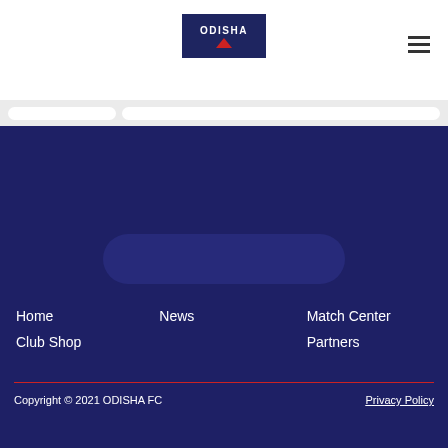[Figure (logo): Odisha FC logo: dark navy rectangle with ODISHA text in white and a red triangle/mountain shape below]
[Figure (other): Hamburger menu icon with three horizontal lines]
[Figure (other): Search bar area with two pill-shaped input fields on light gray background]
[Figure (other): Rounded pill/button shape centered on dark navy footer background]
Home
News
Match Center
Club Shop
Partners
Copyright © 2021 ODISHA FC    Privacy Policy